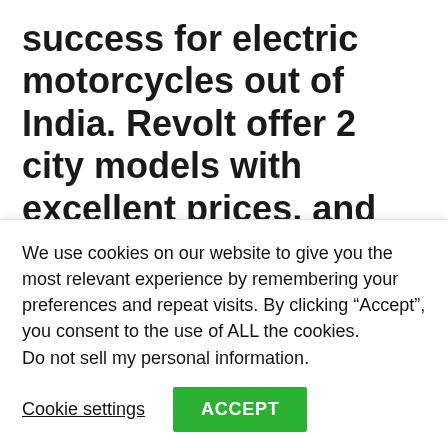success for electric motorcycles out of India. Revolt offer 2 city models with excellent prices, and great specification for that money.
Revolt India is not the first startup for entrepreneur Rahul Sharma, which has previously established Micromax (consumer electronics company). The Revolt bikes look great, and they have just the right specification to take on
We use cookies on our website to give you the most relevant experience by remembering your preferences and repeat visits. By clicking “Accept”, you consent to the use of ALL the cookies.
Do not sell my personal information.
Cookie settings
ACCEPT